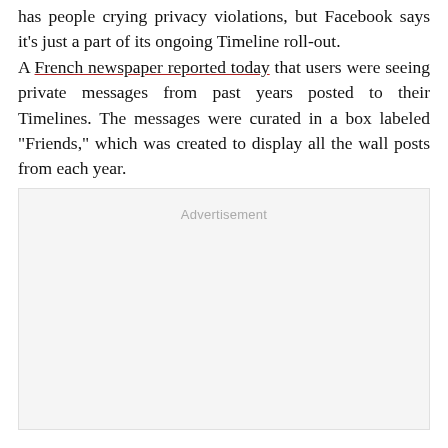has people crying privacy violations, but Facebook says it's just a part of its ongoing Timeline roll-out.

A French newspaper reported today that users were seeing private messages from past years posted to their Timelines. The messages were curated in a box labeled "Friends," which was created to display all the wall posts from each year.
[Figure (other): Advertisement placeholder box with light gray background and 'Advertisement' label at top center]